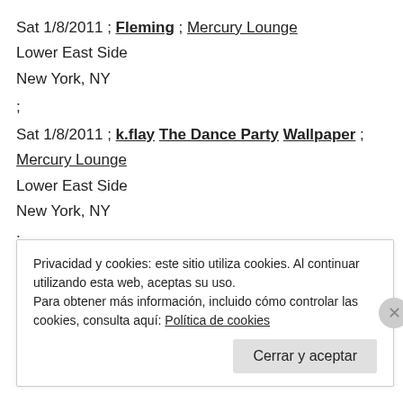Sat 1/8/2011 ; Fleming ; Mercury Lounge
Lower East Side
New York, NY
;
Sat 1/8/2011 ; k.flay The Dance Party Wallpaper ; Mercury Lounge
Lower East Side
New York, NY
;
Privacidad y cookies: este sitio utiliza cookies. Al continuar utilizando esta web, aceptas su uso.
Para obtener más información, incluido cómo controlar las cookies, consulta aquí: Política de cookies
Cerrar y aceptar